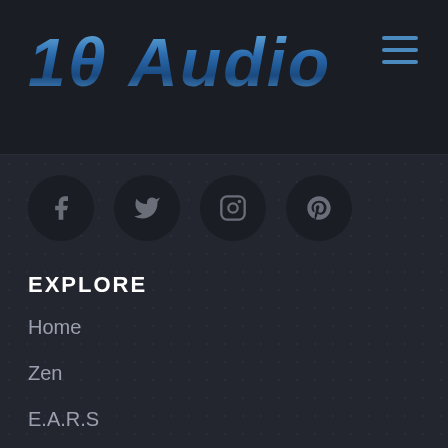10 Audio
[Figure (logo): Social media icons: Facebook, Twitter, Instagram, Pinterest in dark circular buttons]
EXPLORE
Home
Zen
E.A.R.S
Reviews
References